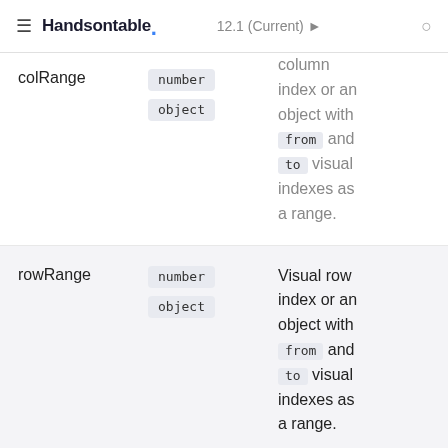Handsontable 12.1 (Current)
| Parameter | Type | Description |
| --- | --- | --- |
| colRange | number
object | column index or an object with from and to visual indexes as a range. |
| rowRange | number
object | Visual row index or an object with from and to visual indexes as a range. |